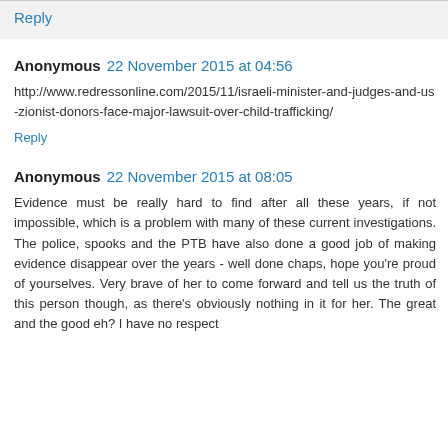Reply
Anonymous 22 November 2015 at 04:56
http://www.redressonline.com/2015/11/israeli-minister-and-judges-and-us-zionist-donors-face-major-lawsuit-over-child-trafficking/
Reply
Anonymous 22 November 2015 at 08:05
Evidence must be really hard to find after all these years, if not impossible, which is a problem with many of these current investigations. The police, spooks and the PTB have also done a good job of making evidence disappear over the years - well done chaps, hope you're proud of yourselves. Very brave of her to come forward and tell us the truth of this person though, as there's obviously nothing in it for her. The great and the good eh? I have no respect